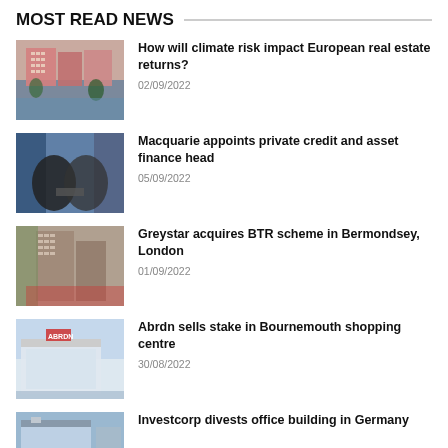MOST READ NEWS
How will climate risk impact European real estate returns? | 02/09/2022
Macquarie appoints private credit and asset finance head | 05/09/2022
Greystar acquires BTR scheme in Bermondsey, London | 01/09/2022
Abrdn sells stake in Bournemouth shopping centre | 30/08/2022
Investcorp divests office building in Germany